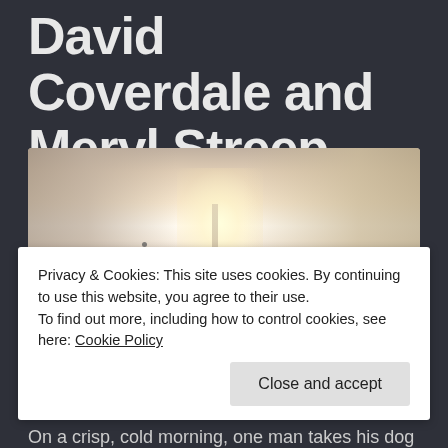David Coverdale and Meryl Streep
[Figure (photo): A person walking a dog across a misty, wintry field with bare trees in the background and a church steeple visible in the hazy light]
Privacy & Cookies: This site uses cookies. By continuing to use this website, you agree to their use.
To find out more, including how to control cookies, see here: Cookie Policy
Close and accept
On a crisp, cold morning, one man takes his dog...